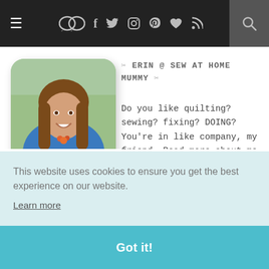≡  ✉ f t ☷ ⌖ ♥ ☁  🔍
[Figure (photo): Profile photo of Erin, a woman with long brown hair wearing a blue top and orange necklace, smiling, with rounded square crop]
✂ ERIN @ SEW AT HOME MUMMY ✂
Do you like quilting? sewing? fixing? DOING? You're in like company, my friend. Read more about me [here]
This website uses cookies to ensure you get the best experience on our website. Learn more
Got it!